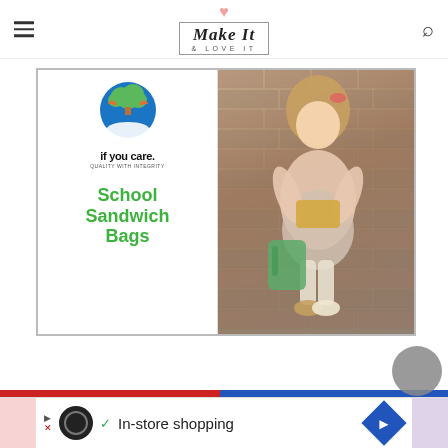Make It & LOVE IT
[Figure (photo): If You Care brand School Sandwich Bags advertisement showing the product logo on the left side and a young girl sitting outdoors on brick pavement holding a sandwich bag, with a green backpack beside her, on the right side.]
[Figure (infographic): Bottom ad banner showing an in-store shopping advertisement with a dark circle logo, checkmark, text 'In-store shopping', and a blue diamond navigation icon. Red and blue color bar above it.]